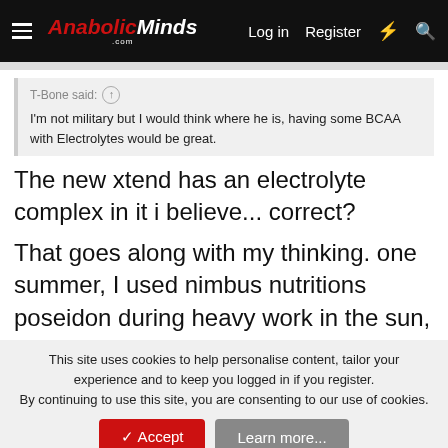AnabolicMinds.com — Log in  Register
T-Bone said: ↑
I'm not military but I would think where he is, having some BCAA with Electrolytes would be great.
The new xtend has an electrolyte complex in it i believe... correct?
That goes along with my thinking. one summer, I used nimbus nutritions poseidon during heavy work in the sun,
This site uses cookies to help personalise content, tailor your experience and to keep you logged in if you register.
By continuing to use this site, you are consenting to our use of cookies.
Topic of the Week: The Single Best Supplement You've Taken